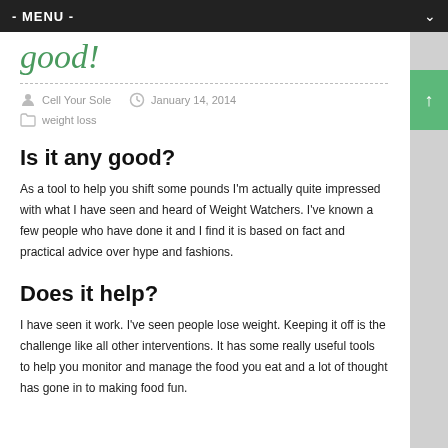- MENU -
good!
Cell Your Sole   January 14, 2014
weight loss
Is it any good?
As a tool to help you shift some pounds I'm actually quite impressed with what I have seen and heard of Weight Watchers. I've known a few people who have done it and I find it is based on fact and practical advice over hype and fashions.
Does it help?
I have seen it work. I've seen people lose weight. Keeping it off is the challenge like all other interventions. It has some really useful tools to help you monitor and manage the food you eat and a lot of thought has gone in to making food fun.